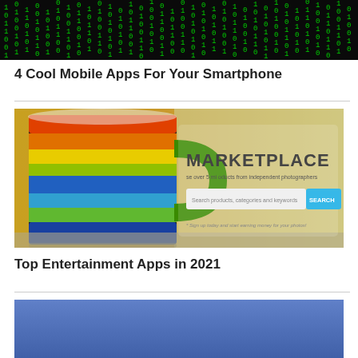[Figure (photo): Dark background with green matrix-style falling characters/code]
4 Cool Mobile Apps For Your Smartphone
[Figure (photo): Rainbow striped colorful mug on a table next to a marketplace website screenshot showing 'MARKETPLACE' text, search bar, and SEARCH button]
Top Entertainment Apps in 2021
[Figure (photo): Blue-toned image partially visible at the bottom of the page]